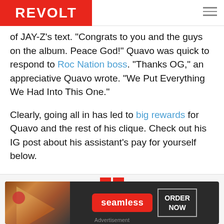REVOLT
of JAY-Z’s text. “Congrats to you and the guys on the album. Peace God!” Quavo was quick to respond to Roc Nation boss. “Thanks OG,” an appreciative Quavo wrote. “We Put Everything We Had Into This One.”
Clearly, going all in has led to big rewards for Quavo and the rest of his clique. Check out his IG post about his assistant’s pay for yourself below.
[Figure (screenshot): Social media embed placeholder with red double-square icon at top, profile circle and lines, and close button]
[Figure (screenshot): Seamless food delivery advertisement banner with pizza image, Seamless red button, and ORDER NOW button]
Advertisement